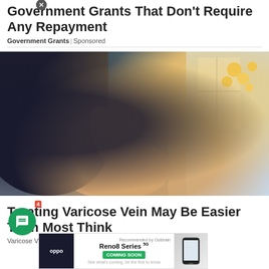Government Grants That Don't Require Any Repayment
Government Grants | Sponsored
[Figure (photo): Woman in dark clothing sitting and applying liquid from a small bottle to her leg/knee area, with soft blurred background including flowers and window light.]
Treating Varicose Vein May Be Easier Than Most Think
Varicose Veins | Search Ads | Sponsored
[Figure (screenshot): Advertisement banner for Oppo Reno8 Series with 'Coming Soon' text and phone image. Includes a close (X) button overlay and chat button in bottom left.]